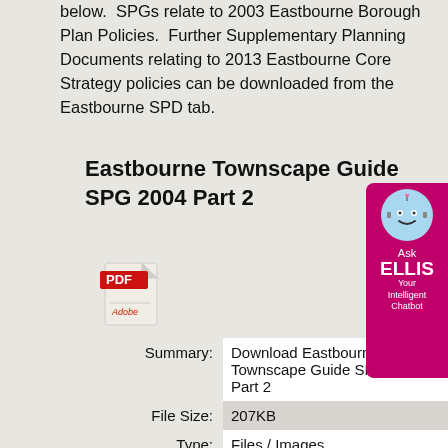below.  SPGs relate to 2003 Eastbourne Borough Plan Policies.  Further Supplementary Planning Documents relating to 2013 Eastbourne Core Strategy policies can be downloaded from the Eastbourne SPD tab.
Eastbourne Townscape Guide SPG 2004 Part 2
[Figure (illustration): Adobe PDF file icon - red banner with 'PDF' text and Adobe acrobat document icon]
| Summary: | Download Eastbourne Townscape Guide SPG 2004 Part 2 |
| File Size: | 207KB |
| Type: | Files / Images |
| Created: | 21 June 2017 |
| Last Modified: | 21 June 2017 |
[Figure (illustration): ELLIS chatbot widget - pink/magenta rounded rectangle with robot avatar and text 'Ask ELLIS Your Intelligent Chatbot']